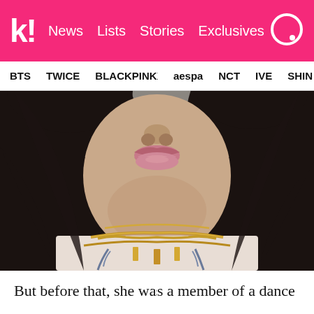k! News Lists Stories Exclusives
BTS TWICE BLACKPINK aespa NCT IVE SHIN
[Figure (photo): Close-up photo of a young woman from nose to chest, with dark flowing hair, wearing a white top and multiple layered gold chain necklaces with pendant charms. The background is blurred gray. The lower half of her face is visible showing her lips.]
But before that, she was a member of a dance